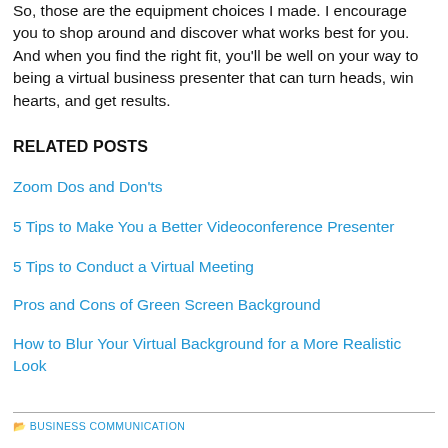So, those are the equipment choices I made. I encourage you to shop around and discover what works best for you. And when you find the right fit, you'll be well on your way to being a virtual business presenter that can turn heads, win hearts, and get results.
RELATED POSTS
Zoom Dos and Don'ts
5 Tips to Make You a Better Videoconference Presenter
5 Tips to Conduct a Virtual Meeting
Pros and Cons of Green Screen Background
How to Blur Your Virtual Background for a More Realistic Look
BUSINESS COMMUNICATION